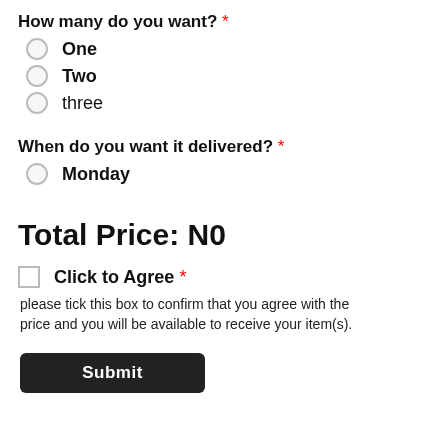How many do you want? *
One
Two
three
When do you want it delivered? *
Monday
Total Price: N0
Click to Agree *
please tick this box to confirm that you agree with the price and you will be available to receive your item(s).
Submit